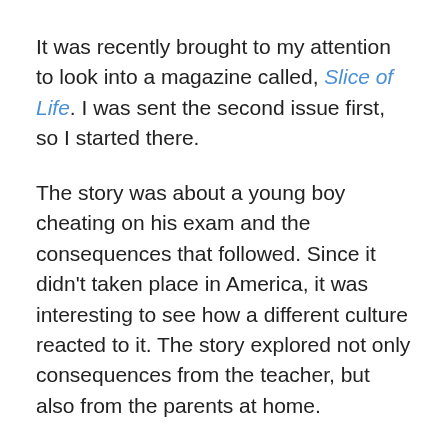It was recently brought to my attention to look into a magazine called, Slice of Life. I was sent the second issue first, so I started there.
The story was about a young boy cheating on his exam and the consequences that followed. Since it didn't taken place in America, it was interesting to see how a different culture reacted to it. The story explored not only consequences from the teacher, but also from the parents at home.
Overall, the story had an interesting concept. I wished the characters were more developed. It was filled with dialogue, but it didn't have much inner thoughts from the main character. I also wished the different culture concepts were explored more too. The ending did seem a bit abrupt for me as well.